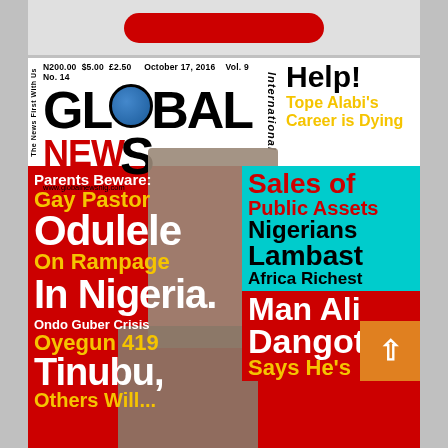[Figure (photo): Partial top section showing a red rounded button on gray background]
[Figure (photo): Global News International magazine cover, October 17 2016, Vol.9 No.14. Red background. Headlines: Help! Tope Alabi's Career is Dying; Parents Beware: Gay Pastor Odulele On Rampage In Nigeria; Sales of Public Assets Nigerians Lambast Africa Richest Man Aliko Dangote Says He's...; Ondo Guber Crisis Oyegun 419 Tinubu, Others Will...]
N200.00 $5.00 £2.50   October 17, 2016   Vol. 9  No. 14
GLOBAL NEWS International
www.globalnewsnig.com
Help!
Tope Alabi's Career is Dying
Parents Beware: Gay Pastor Odulele On Rampage In Nigeria.
Sales of Public Assets Nigerians Lambast Africa Richest Man Aliko Dangote Says He's
Ondo Guber Crisis Oyegun 419 Tinubu,
Others Will...